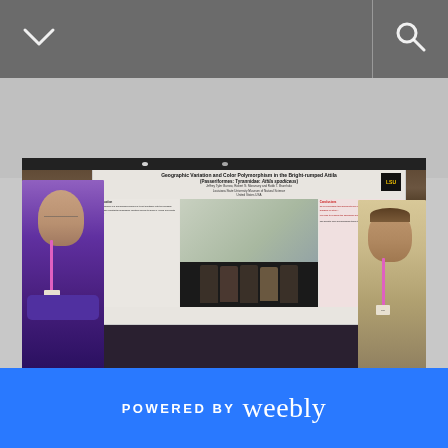[Figure (screenshot): Website screenshot showing a gray navigation bar at top with a chevron/down icon on the left and a search/magnifying glass icon on the right, separated by a vertical divider line. Below is a large gray area followed by a photograph of two men standing in front of a scientific conference poster titled 'Geographic Variation and Color Polymorphism in the Bright-rumped Attila (Passeriformes: Tyrannidae: Attila spodiceus)'. The left man wears a purple LSU Science shirt with a pink lanyard and has his arms crossed. The right man wears a light tan shirt with a pink lanyard. Both are smiling. The poster includes maps, charts, and an LSU logo. At the bottom is a bright blue footer bar with 'POWERED BY weebly' text in white.]